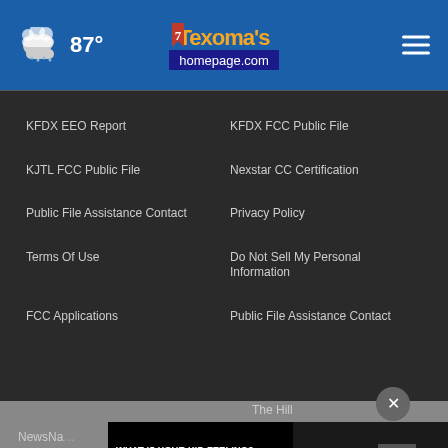[Figure (screenshot): Website header with weather (cloud icon, 87°), Texoma's Homepage.com logo, and hamburger menu icon on blue background]
KFDX EEO Report
KFDX FCC Public File
KJTL FCC Public File
Nexstar CC Certification
Public File Assistance Contact
Privacy Policy
Terms Of Use
Do Not Sell My Personal Information
FCC Applications
Public File Assistance Contact
The Hill
NewsNation
[Figure (infographic): Advertisement banner: 'WHAT IS YOUR KID FEELING? GET SONGS TO SOUND IT OUT.' with Sound It Out, Ad Council, and Pivotal logos]